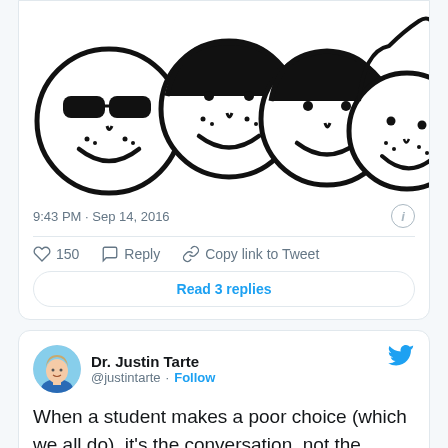[Figure (illustration): Black and white cartoon illustration of four smiling children's faces with various hairstyles, one wearing sunglasses]
9:43 PM · Sep 14, 2016
150  Reply  Copy link to Tweet
Read 3 replies
Dr. Justin Tarte @justintarte · Follow
When a student makes a poor choice (which we all do), it's the conversation, not the consequence, that makes all the difference. #edchat